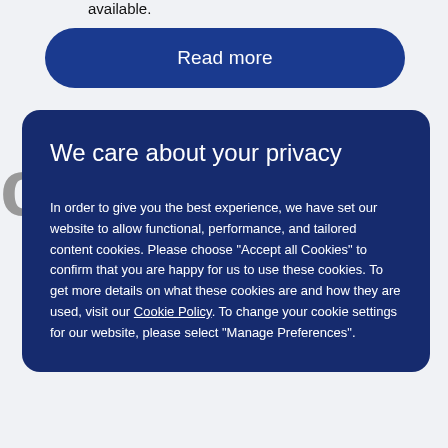available.
Read more
C
We care about your privacy
In order to give you the best experience, we have set our website to allow functional, performance, and tailored content cookies. Please choose "Accept all Cookies" to confirm that you are happy for us to use these cookies. To get more details on what these cookies are and how they are used, visit our Cookie Policy. To change your cookie settings for our website, please select "Manage Preferences".